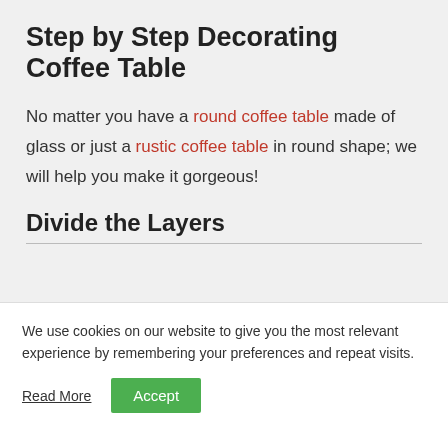Step by Step Decorating Coffee Table
No matter you have a round coffee table made of glass or just a rustic coffee table in round shape; we will help you make it gorgeous!
Divide the Layers
We use cookies on our website to give you the most relevant experience by remembering your preferences and repeat visits.
Read More   Accept